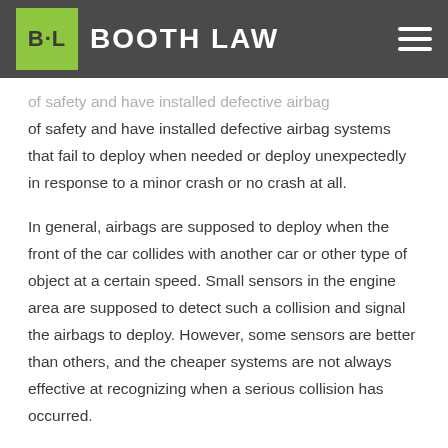BOOTH LAW
of safety and have installed defective airbag systems that fail to deploy when needed or deploy unexpectedly in response to a minor crash or no crash at all.
In general, airbags are supposed to deploy when the front of the car collides with another car or other type of object at a certain speed. Small sensors in the engine area are supposed to detect such a collision and signal the airbags to deploy. However, some sensors are better than others, and the cheaper systems are not always effective at recognizing when a serious collision has occurred.